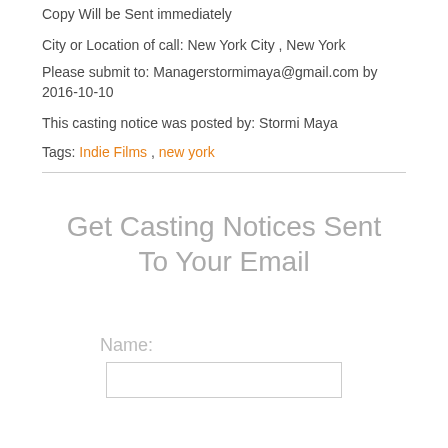Copy Will be Sent immediately
City or Location of call: New York City , New York
Please submit to: Managerstormimaya@gmail.com by 2016-10-10
This casting notice was posted by: Stormi Maya
Tags: Indie Films , new york
Get Casting Notices Sent To Your Email
Name: